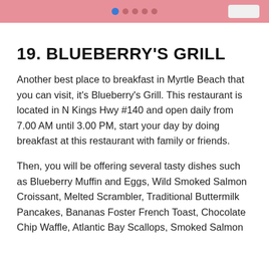[Figure (other): Pink banner with dot navigation indicators and a button placeholder on the right]
19. BLUEBERRY'S GRILL
Another best place to breakfast in Myrtle Beach that you can visit, it's Blueberry's Grill. This restaurant is located in N Kings Hwy #140 and open daily from 7.00 AM until 3.00 PM, start your day by doing breakfast at this restaurant with family or friends.
Then, you will be offering several tasty dishes such as Blueberry Muffin and Eggs, Wild Smoked Salmon Croissant, Melted Scrambler, Traditional Buttermilk Pancakes, Bananas Foster French Toast, Chocolate Chip Waffle, Atlantic Bay Scallops, Smoked Salmon